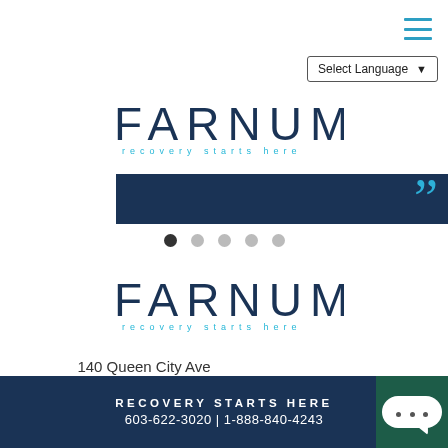[Figure (logo): Hamburger menu icon with three horizontal blue lines in top-right corner]
[Figure (other): Select Language dropdown button]
[Figure (logo): FARNUM logo — dark navy FARNUM text with light blue 'recovery starts here' tagline below]
[Figure (other): Dark navy banner strip with blue quotation mark on the right side, part of a testimonial slider]
[Figure (other): Carousel dot indicators: first dot filled/dark, remaining four dots light gray]
[Figure (logo): FARNUM logo (footer version) — dark navy FARNUM text with light blue 'recovery starts here' tagline]
140 Queen City Ave
Manchester, NH 03103
RECOVERY STARTS HERE  603-622-3020 | 1-888-840-4243